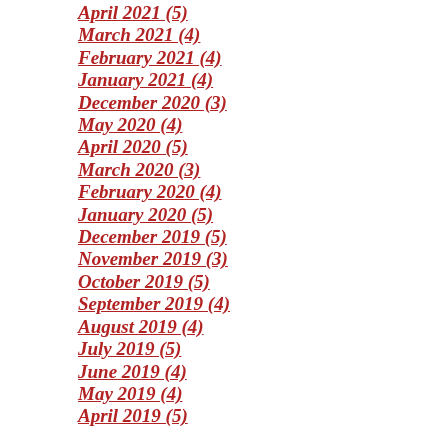April 2021 (5)
March 2021 (4)
February 2021 (4)
January 2021 (4)
December 2020 (3)
May 2020 (4)
April 2020 (5)
March 2020 (3)
February 2020 (4)
January 2020 (5)
December 2019 (5)
November 2019 (3)
October 2019 (5)
September 2019 (4)
August 2019 (4)
July 2019 (5)
June 2019 (4)
May 2019 (4)
April 2019 (5)